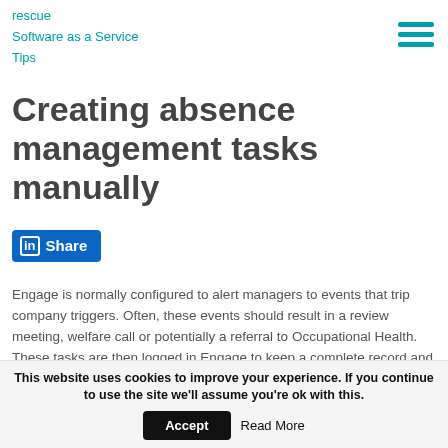rescue
Software as a Service
Tips
Creating absence management tasks manually
[Figure (other): LinkedIn Share button]
Engage is normally configured to alert managers to events that trip company triggers. Often, these events should result in a review meeting, welfare call or potentially a referral to Occupational Health. These tasks are then logged in Engage to keep a complete record and receive reminders for anything that is still outstanding. As an additional option, managers can now choose to create a task manually, too.
This website uses cookies to improve your experience. If you continue to use the site we'll assume you're ok with this.